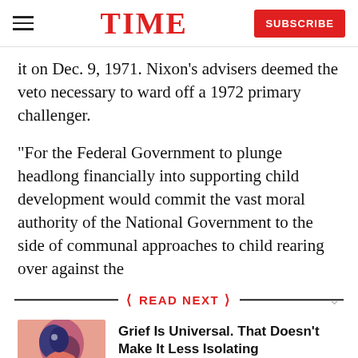TIME | SUBSCRIBE
it on Dec. 9, 1971. Nixon’s advisers deemed the veto necessary to ward off a 1972 primary challenger.
“For the Federal Government to plunge headlong financially into supporting child development would commit the vast moral authority of the National Government to the side of communal approaches to child rearing over against the
READ NEXT
[Figure (illustration): Stylized illustration of a person in profile with blues and pinks, suggesting grief or solitude]
Grief Is Universal. That Doesn’t Make It Less Isolating